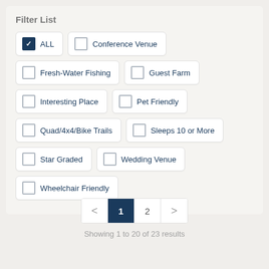Filter List
ALL (checked)
Conference Venue
Fresh-Water Fishing
Guest Farm
Interesting Place
Pet Friendly
Quad/4x4/Bike Trails
Sleeps 10 or More
Star Graded
Wedding Venue
Wheelchair Friendly
< 1 2 >
Showing 1 to 20 of 23 results